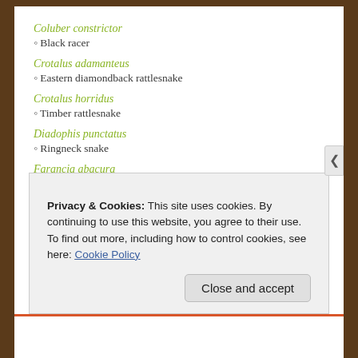Coluber constrictor
◦ Black racer
Crotalus adamanteus
◦ Eastern diamondback rattlesnake
Crotalus horridus
◦ Timber rattlesnake
Diadophis punctatus
◦ Ringneck snake
Farancia abacura
◦ Mud snake
Haldea striatula
◦ Rough earth snake
Privacy & Cookies: This site uses cookies. By continuing to use this website, you agree to their use. To find out more, including how to control cookies, see here: Cookie Policy